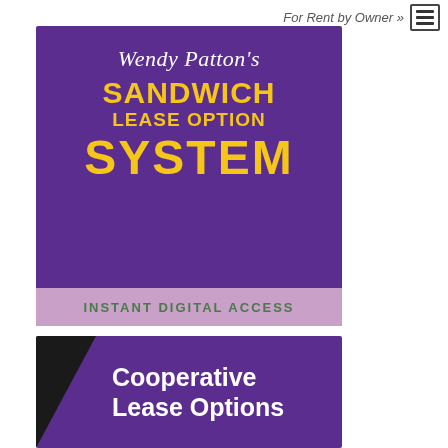For Rent by Owner »
[Figure (illustration): Wendy Patton's Sandwich Lease Option System - Instant Digital Access promotional image on purple background]
[Figure (illustration): Cooperative Lease Options promotional image on purple background with black triangle accent]